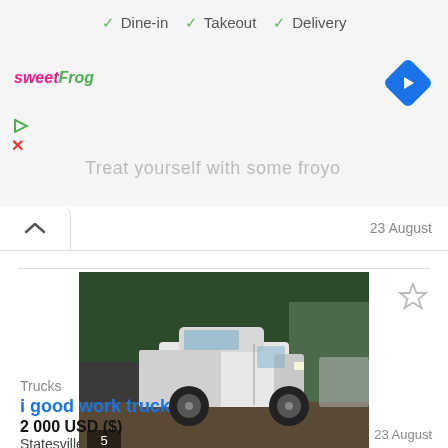✓ Dine-in  ✓ Takeout  ✓ Delivery
[Figure (logo): sweetFrog logo in pink and green italic text]
[Figure (illustration): Blue diamond-shaped navigation/directions icon with white arrow pointing right]
Treat yourself with some froyo
23 August
[Figure (photo): White pickup truck parked on dirt/gravel, photo count badge showing 5]
Trucks
i good work truck
2 000 USD ($)
Statesville
23 August